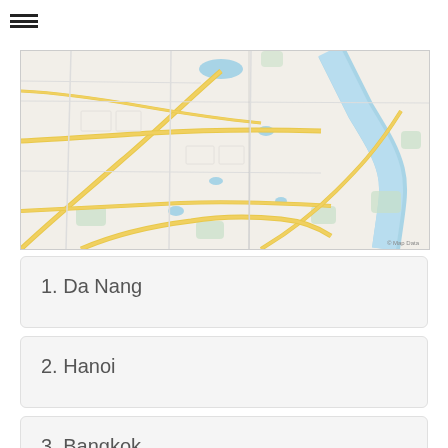[Figure (map): Street map of Hanoi, Vietnam showing road network, blue river on the right side, and urban layout with yellow major roads and green park areas.]
1. Da Nang
2. Hanoi
3. Bangkok